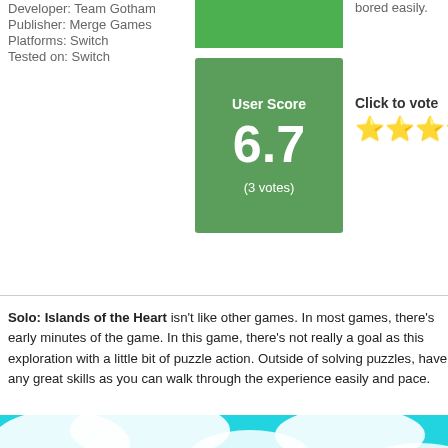Developer: Team Gotham
Publisher: Merge Games
Platforms: Switch
Tested on: Switch
bored easily.
User Score
6.7
(3 votes)
Click to vote
Solo: Islands of the Heart isn't like other games. In most games, there's early minutes of the game. In this game, there's not really a goal as this exploration with a little bit of puzzle action. Outside of solving puzzles, have any great skills as you can walk through the experience easily and pace.
[Figure (screenshot): Screenshot from Solo: Islands of the Heart game showing a cyan/turquoise ocean scene with white cloud-like islands and the word 'solo' written in white cursive text. A small figure/boat is visible in the distance.]